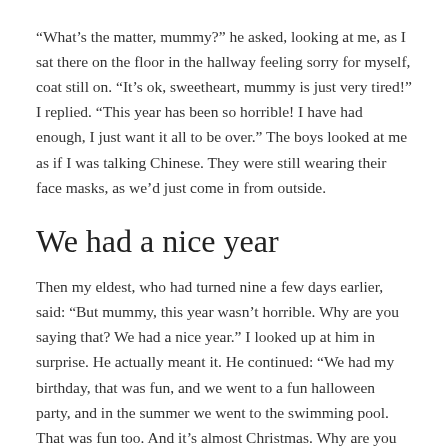“What’s the matter, mummy?” he asked, looking at me, as I sat there on the floor in the hallway feeling sorry for myself, coat still on. “It’s ok, sweetheart, mummy is just very tired!” I replied. “This year has been so horrible! I have had enough, I just want it all to be over.” The boys looked at me as if I was talking Chinese. They were still wearing their face masks, as we’d just come in from outside.
We had a nice year
Then my eldest, who had turned nine a few days earlier, said: “But mummy, this year wasn’t horrible. Why are you saying that? We had a nice year.” I looked up at him in surprise. He actually meant it. He continued: “We had my birthday, that was fun, and we went to a fun halloween party, and in the summer we went to the swimming pool. That was fun too. And it’s almost Christmas. Why are you saying it’s a horrible year?” I hugged